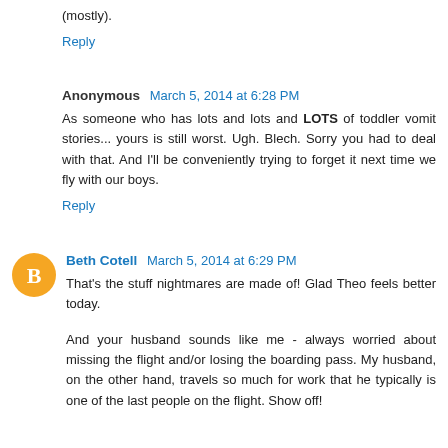(mostly).
Reply
Anonymous  March 5, 2014 at 6:28 PM
As someone who has lots and lots and LOTS of toddler vomit stories... yours is still worst. Ugh. Blech. Sorry you had to deal with that. And I'll be conveniently trying to forget it next time we fly with our boys.
Reply
Beth Cotell  March 5, 2014 at 6:29 PM
That's the stuff nightmares are made of! Glad Theo feels better today.
And your husband sounds like me - always worried about missing the flight and/or losing the boarding pass. My husband, on the other hand, travels so much for work that he typically is one of the last people on the flight. Show off!